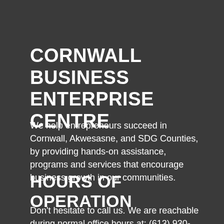CORNWALL BUSINESS ENTERPRISE CENTRE
We help entrepreneurs succeed in Cornwall, Akwesasne, and SDG Counties, by providing hands-on assistance, programs and services that encourage business growth in our communities.
HOURS OF OPERATION
Don't hesitate to call us. We are reachable during normal office hours at: (613) 930-2787 x2277